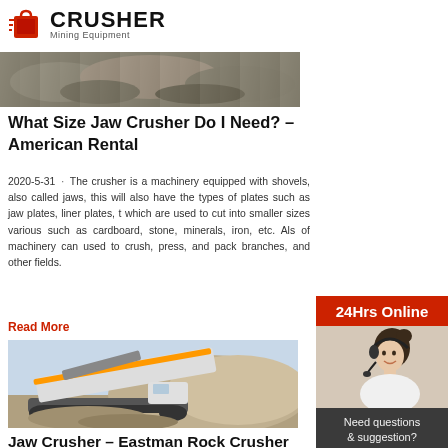CRUSHER Mining Equipment
[Figure (photo): Top strip image showing rocky/earth material]
What Size Jaw Crusher Do I Need? – American Rental
2020-5-31 · The crusher is a machinery equipped with shovels, also called jaws, this will also have the types of plates such as jaw plates, liner plates, t which are used to cut into smaller sizes various such as cardboard, stone, minerals, iron, etc. Als of machinery can used to crush, press, and pack branches, and other fields.
Read More
[Figure (photo): Jaw crusher machine on a construction/mining site]
Jaw Crusher – Eastman Rock Crusher
[Figure (infographic): Sidebar with 24Hrs Online banner, customer service person with headset, Need questions & suggestion text, Chat Now button, Enquiry section, limingjlmofen@sina.com email]